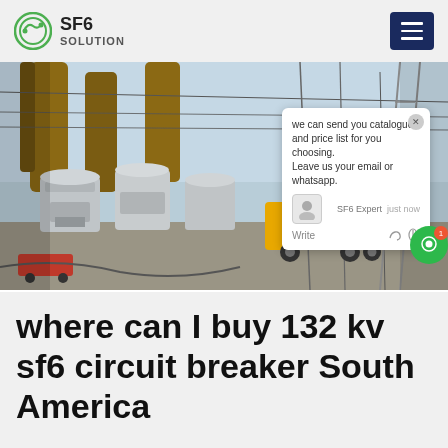SF6 SOLUTION
[Figure (photo): Electrical substation with SF6 circuit breakers and a yellow truck visible, with a live chat popup overlay showing: 'we can send you catalogue and price list for you choosing. Leave us your email or whatsapp.' with SF6 Expert agent and just now timestamp]
where can I buy 132 kv sf6 circuit breaker South America